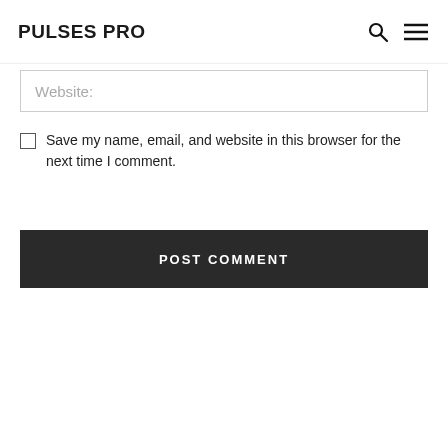PULSES PRO
Website:
Save my name, email, and website in this browser for the next time I comment.
POST COMMENT